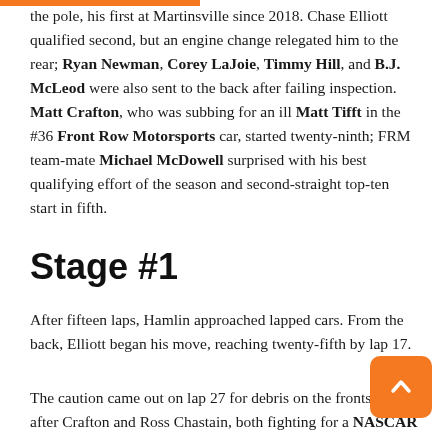the pole, his first at Martinsville since 2018. Chase Elliott qualified second, but an engine change relegated him to the rear; Ryan Newman, Corey LaJoie, Timmy Hill, and B.J. McLeod were also sent to the back after failing inspection. Matt Crafton, who was subbing for an ill Matt Tifft in the #36 Front Row Motorsports car, started twenty-ninth; FRM team-mate Michael McDowell surprised with his best qualifying effort of the season and second-straight top-ten start in fifth.
Stage #1
After fifteen laps, Hamlin approached lapped cars. From the back, Elliott began his move, reaching twenty-fifth by lap 17.
The caution came out on lap 27 for debris on the frontstretch after Crafton and Ross Chastain, both fighting for a NASCAR Camping World Truck Series title, made contact.